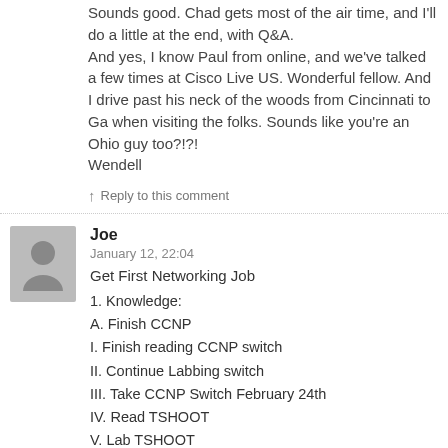Sounds good. Chad gets most of the air time, and I'll do a little at the end, with Q&A.
And yes, I know Paul from online, and we've talked a few times at Cisco Live US. Wonderful fellow. And I drive past his neck of the woods from Cincinnati to Ga when visiting the folks. Sounds like you're an Ohio guy too?!?!
Wendell
↑ Reply to this comment
Joe
January 12, 22:04
Get First Networking Job
1.  Knowledge:
A.  Finish CCNP
I.  Finish reading CCNP switch
II.  Continue Labbing switch
III.  Take CCNP Switch February 24th
IV.  Read TSHOOT
V.  Lab TSHOOT
VI.  Take TSHOOT MARCH 31st
B.  Decide between CCDA and CCNA DC by April